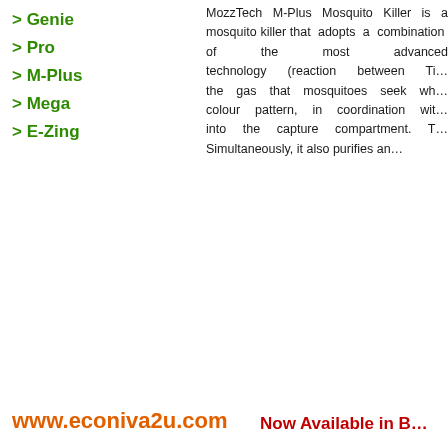> Genie
> Pro
> M-Plus
> Mega
> E-Zing
MozzTech M-Plus Mosquito Killer is a mosquito killer that adopts a combination of the most advanced technology (reaction between Ti... the gas that mosquitoes seek wh... colour pattern, in coordination with... into the capture compartment. T... Simultaneously, it also purifies an...
www.econiva2u.com
Now Available in B...